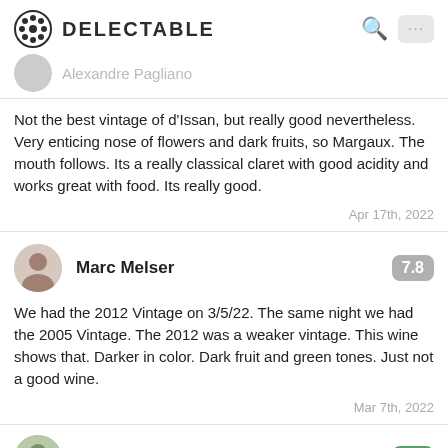DELECTABLE
Alexandre Pagliano
Not the best vintage of d'Issan, but really good nevertheless. Very enticing nose of flowers and dark fruits, so Margaux. The mouth follows. Its a really classical claret with good acidity and works great with food. Its really good.
Apr 17th, 2022
Marc Melser
7.8
We had the 2012 Vintage on 3/5/22. The same night we had the 2005 Vintage. The 2012 was a weaker vintage. This wine shows that. Darker in color. Dark fruit and green tones. Just not a good wine.
Mar 7th, 2022
Shannon Norris
9.2